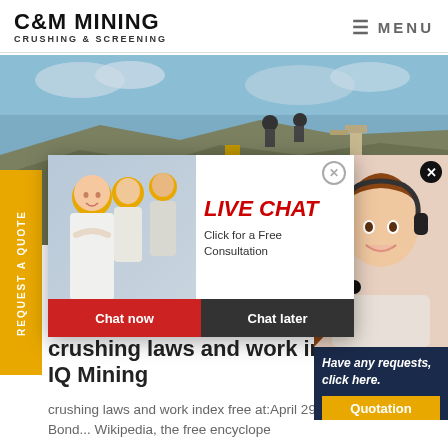C&M MINING CRUSHING & SCREENING | MENU
[Figure (photo): Hero image of a mining site with heavy machinery, rock piles, and industrial equipment against a cloudy sky]
REQUEST A QUOTE
[Figure (screenshot): Live chat popup overlay showing workers in yellow hard hats with text 'LIVE CHAT - Click for a Free Consultation' and buttons 'Chat now' and 'Chat later']
[Figure (photo): Customer service agent panel on the right side showing a smiling woman with a headset, with 'Have any requests, click here.' text and a Quotation button]
crushing laws and work index IQ Mining
crushing laws and work index free at:April 29, 2013[ 4.6 - 1556 Ratings Bond... Wikipedia, the free encyclope